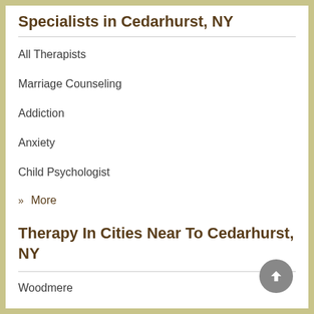Specialists in Cedarhurst, NY
All Therapists
Marriage Counseling
Addiction
Anxiety
Child Psychologist
» More
Therapy In Cities Near To Cedarhurst, NY
Woodmere